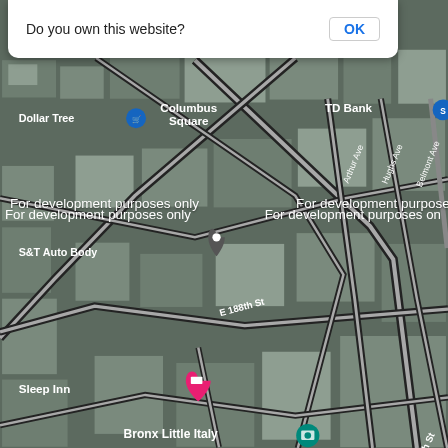[Figure (screenshot): Google Maps satellite view of the Bronx, New York area showing Arthur Avenue / Belmont neighborhood with street labels, place markers for Dollar Tree, Columbus Square, TD Bank, S&T Auto Body, Sleep Inn, Bronx Little Italy, Arthur Avenue Retail Market, Ajo y Orégano, St Barnabas Hospital Emergency Room, Arthur Ave, and street labels E 188th St, E 183rd St, Adams Pl, Arthur Ave, Belmont Ave, Cambrenng Ave, Beatont Ave. Development purpose watermarks overlay the map.]
Do you own this website?
OK
For development purposes only
For development purposes only
For development purposes only
For development purposes only